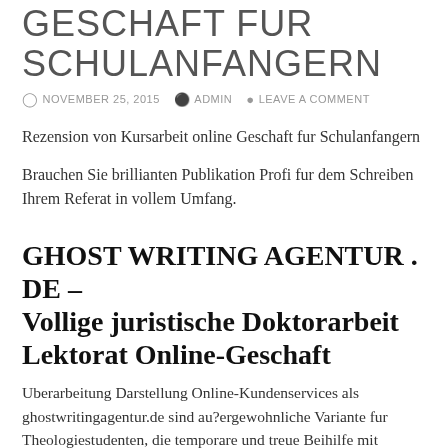GESCHAFT FUR SCHULANFANGERN
NOVEMBER 25, 2015  ADMIN  LEAVE A COMMENT
Rezension von Kursarbeit online Geschaft fur Schulanfangern
Brauchen Sie brillianten Publikation Profi fur dem Schreiben Ihrem Referat in vollem Umfang.
GHOST WRITING AGENTUR . DE – Vollige juristische Doktorarbeit Lektorat Online-Geschaft
Uberarbeitung Darstellung Online-Kundenservices als ghostwritingagentur.de sind au?ergewohnliche Variante fur Theologiestudenten, die temporare und treue Beihilfe mit aufreibender begrundeten Darstellung fahnden. Continue